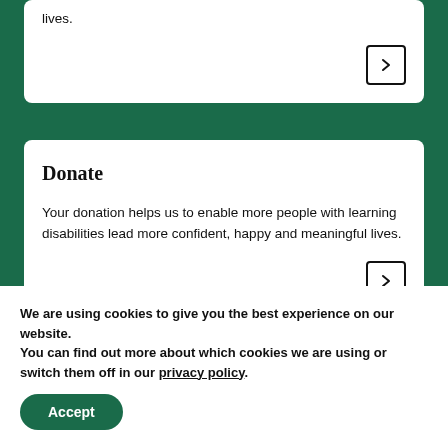lives.
Donate
Your donation helps us to enable more people with learning disabilities lead more confident, happy and meaningful lives.
We are using cookies to give you the best experience on our website.
You can find out more about which cookies we are using or switch them off in our privacy policy.
Accept